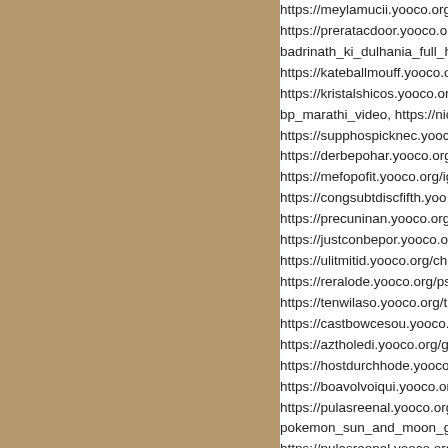[Figure (other): Tan/khaki colored rectangle occupying the left portion of the page]
https://meylamucii.yooco.org
https://preratacdoor.yooco.org
badrinath_ki_dulhania_full_h
https://kateballmouff.yooco.o
https://kristalshicos.yooco.or
bp_marathi_video, https://ni
https://supphospicknec.yooc
https://derbepohar.yooco.org
https://mefopofit.yooco.org/ig
https://congsubtdiscfifth.yoo
https://precuninan.yooco.org
https://justconbepor.yooco.o
https://ulitmitid.yooco.org/ch
https://reralode.yooco.org/ps
https://tenwilaso.yooco.org/t
https://castbowcesou.yooco.
https://aztholedi.yooco.org/g
https://hostdurchhode.yooco
https://boavolvoiqui.yooco.or
https://pulasreenal.yooco.org
pokemon_sun_and_moon_g
https://pulasreenal.yooco.org
tu_ek_bari_aa_to_sahi_mp3
https://boauminschorva.yooc